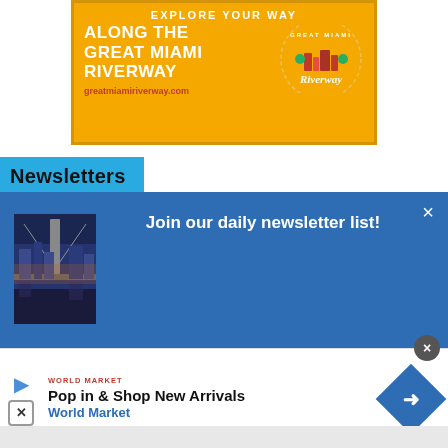[Figure (illustration): Yellow advertisement banner for Great Miami Riverway with text 'Explore Your Way Along The Great Miami Riverway', URL greatmiamiriverway.com, and circular Riverway logo on the right]
Newsletters
[Figure (screenshot): Newsletter signup popup with blue background, bridge/city photo on left, title 'Join our daily newsletter list!', and text 'Start your morning with us! Get Cincinnati's top stories...' with a close X button]
[Figure (illustration): Bottom advertisement for World Market: 'Pop in & Shop New Arrivals' with blue diamond arrow icon and World Market branding]